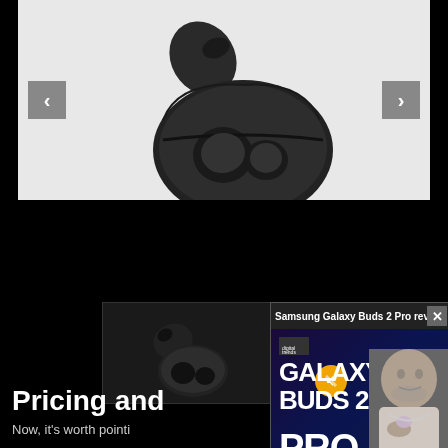[Figure (photo): Samsung Galaxy Buds earbuds in black charging case, shown on light grey background with left and right navigation arrows]
[Figure (screenshot): Screenshot of a webpage showing Samsung Galaxy Buds 2 Pro review video overlay from Digital Trends, with GALAXY BUDS 2 PRO text and a person holding purple earbuds. A thumbnail of the buds is visible on the left side. Section heading 'Pricing and' and text 'Now, it’s worth pointi' are visible at the bottom on a black background.]
Pricing and
Now, it’s worth pointi